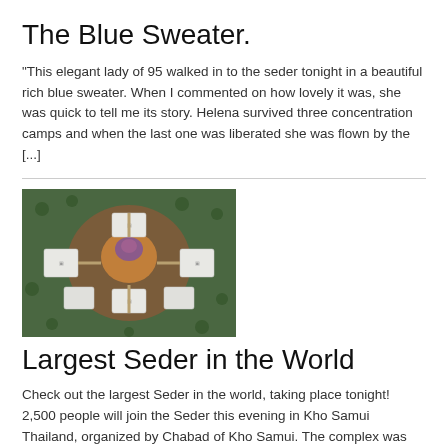The Blue Sweater.
"This elegant lady of 95 walked in to the seder tonight in a beautiful rich blue sweater. When I commented on how lovely it was, she was quick to tell me its story. Helena survived three concentration camps and when the last one was liberated she was flown by the [...]
[Figure (photo): Aerial view of a large temple or event complex with white tent structures arranged around a central building, surrounded by green trees, viewed from above.]
Largest Seder in the World
Check out the largest Seder in the world, taking place tonight! 2,500 people will join the Seder this evening in Kho Samui Thailand, organized by Chabad of Kho Samui. The complex was built this year with a unique concept that includes 6 huge